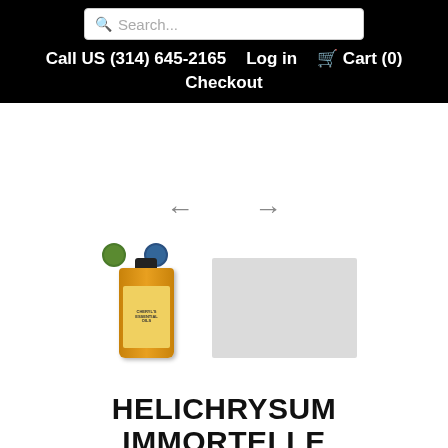Search...  Call US (314) 645-2165  Log in  Cart (0)  Checkout
[Figure (photo): Product thumbnail showing a small amber essential oil bottle with organic certifications badges and a diffuser image thumbnail]
HELICHRYSUM IMMORTELLE